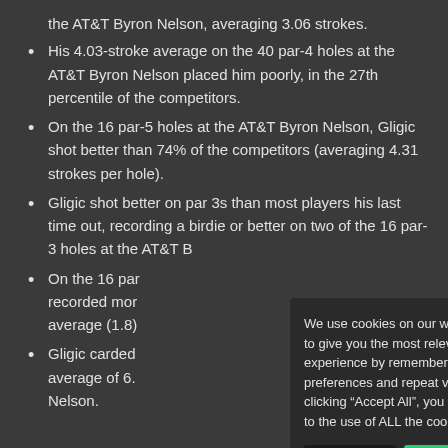the AT&T Byron Nelson, averaging 3.06 strokes.
His 4.03-stroke average on the 40 par-4 holes at the AT&T Byron Nelson placed him poorly, in the 27th percentile of the competitors.
On the 16 par-5 holes at the AT&T Byron Nelson, Gligic shot better than 74% of the competitors (averaging 4.31 strokes per hole).
Gligic shot better on par 3s than most players his last time out, recording a birdie or better on two of the 16 par-3 holes at the AT&T B
On the 16 par recorded mor average (1.8)
Gligic carded average of 6. Nelson.
We use cookies on our website to give you the most relevant experience by remembering your preferences and repeat visits. By clicking “Accept All”, you consent to the use of ALL the cookies.